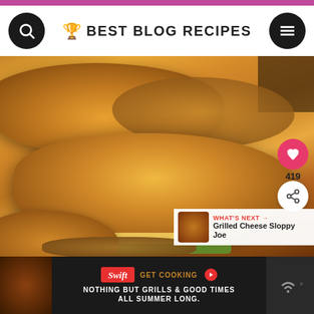BEST BLOG RECIPES
[Figure (photo): Close-up photo of golden-brown grilled cheese sandwiches on toasted bread with melted cheese and lettuce visible]
419
WHAT'S NEXT → Grilled Cheese Sloppy Joe
[Figure (infographic): Advertisement banner: Swift - GET COOKING. NOTHING BUT GRILLS & GOOD TIMES ALL SUMMER LONG.]